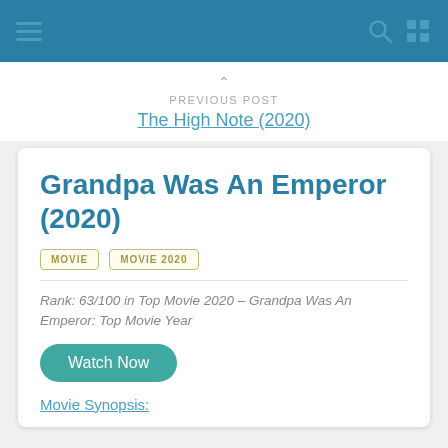Navigation header with hamburger menu, search icon, and grid icon
PREVIOUS POST
The High Note (2020)
Grandpa Was An Emperor (2020)
MOVIE   MOVIE 2020
Rank: 63/100 in Top Movie 2020 – Grandpa Was An Emperor: Top Movie Year
Watch Now
Movie Synopsis: